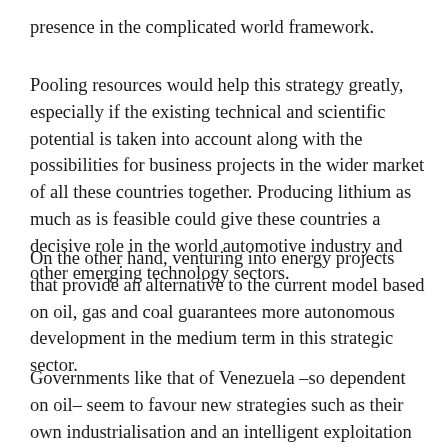presence in the complicated world framework.
Pooling resources would help this strategy greatly, especially if the existing technical and scientific potential is taken into account along with the possibilities for business projects in the wider market of all these countries together. Producing lithium as much as is feasible could give these countries a decisive role in the world automotive industry and other emerging technology sectors.
On the other hand, venturing into energy projects that provide an alternative to the current model based on oil, gas and coal guarantees more autonomous development in the medium term in this strategic sector.
Governments like that of Venezuela –so dependent on oil– seem to favour new strategies such as their own industrialisation and an intelligent exploitation of that